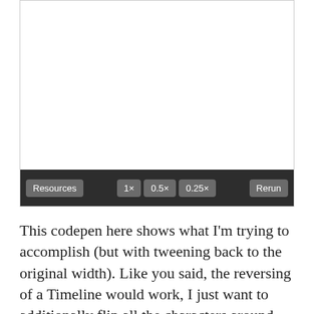[Figure (screenshot): A CodePen embed preview panel with a white canvas area at top and a dark toolbar at the bottom containing buttons: Resources, 1x, 0.5x, 0.25x, Rerun]
This codepen here shows what I'm trying to accomplish (but with tweening back to the original width). Like you said, the reversing of a Timeline would work, I just want to additionally flip all the characters around 360 on the way back to its original position with the